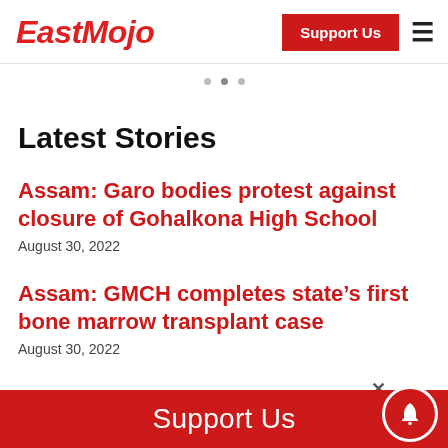EastMojo | Support Us
Latest Stories
Assam: Garo bodies protest against closure of Gohalkona High School
August 30, 2022
Assam: GMCH completes state's first bone marrow transplant case
August 30, 2022
Support Us